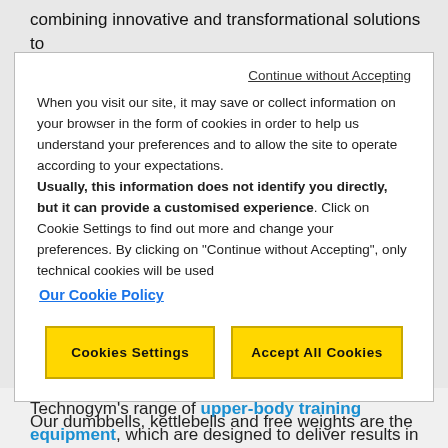combining innovative and transformational solutions to
Continue without Accepting
When you visit our site, it may save or collect information on your browser in the form of cookies in order to help us understand your preferences and to allow the site to operate according to your expectations. Usually, this information does not identify you directly, but it can provide a customised experience. Click on Cookie Settings to find out more and change your preferences. By clicking on "Continue without Accepting", only technical cookies will be used
Our Cookie Policy
Cookies Settings
Accept All Cookies
Technogym's range of upper-body training equipment, which are designed to deliver results in an innovative and enjoyable way.
Our dumbbells, kettlebells and free weights are the